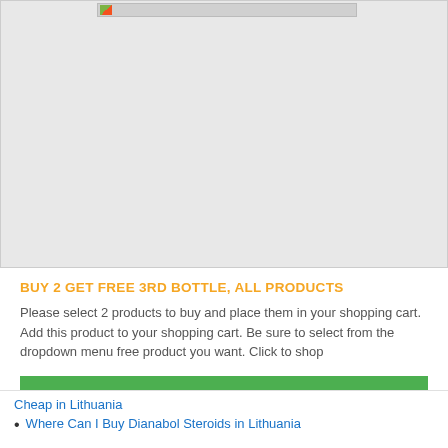[Figure (photo): Product image placeholder at the top of the page, shown as a gray rectangle with a small broken image icon]
BUY 2 GET FREE 3RD BOTTLE, ALL PRODUCTS
Please select 2 products to buy and place them in your shopping cart. Add this product to your shopping cart. Be sure to select from the dropdown menu free product you want. Click to shop
VISIT OFFICIAL STORE
Cheap in Lithuania
Where Can I Buy Dianabol Steroids in Lithuania